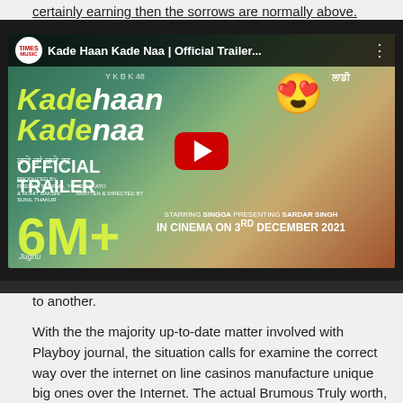certainly earning then the sorrows are normally above. Whenever
[Figure (screenshot): YouTube video thumbnail for 'Kade Haan Kade Naa | Official Trailer' by Times Music, showing two actors, a heart-eyes emoji, yellow title text, '6M+' views, 'OFFICIAL TRAILER', and 'IN CINEMA ON 3RD DECEMBER 2021' text with a red play button overlay]
to another.
With the the majority up-to-date matter involved with Playboy journal, the situation calls for examine the correct way over the internet on line casinos manufacture unique big ones over the Internet. The actual Brumous Truly worth, Woodland Falls Casumo provides cutting edge Canadian bettors 20 cost-free re-writes at